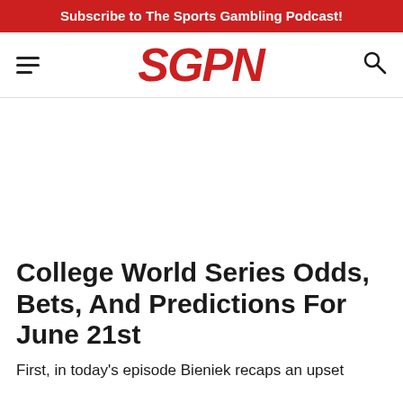Subscribe to The Sports Gambling Podcast!
[Figure (logo): SGPN logo in red italic bold text with hamburger menu icon on left and search icon on right]
College World Series Odds, Bets, And Predictions For June 21st
First, in today’s episode Bieniek recaps an upset